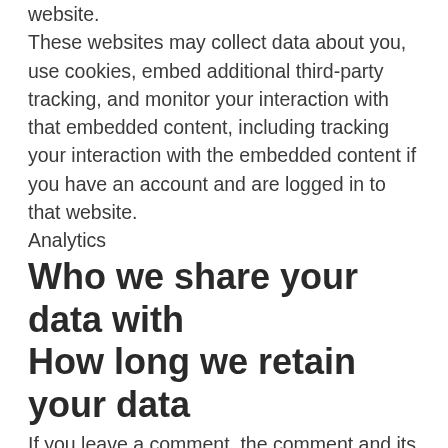website.
These websites may collect data about you, use cookies, embed additional third-party tracking, and monitor your interaction with that embedded content, including tracking your interaction with the embedded content if you have an account and are logged in to that website.
Analytics
Who we share your data with
How long we retain your data
If you leave a comment, the comment and its metadata are retained indefinitely. This is so we can recognize and approve any follow-up comments automatically instead of holding them in a moderation queue.
For users that register on our website (if any), we also